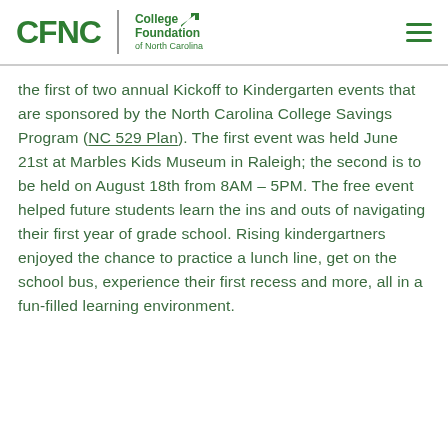CFNC | College Foundation of North Carolina
the first of two annual Kickoff to Kindergarten events that are sponsored by the North Carolina College Savings Program (NC 529 Plan). The first event was held June 21st at Marbles Kids Museum in Raleigh; the second is to be held on August 18th from 8AM – 5PM. The free event helped future students learn the ins and outs of navigating their first year of grade school. Rising kindergartners enjoyed the chance to practice a lunch line, get on the school bus, experience their first recess and more, all in a fun-filled learning environment.